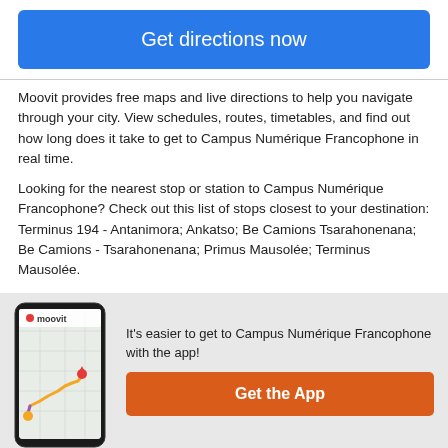[Figure (other): Blue button labeled 'Get directions now']
Moovit provides free maps and live directions to help you navigate through your city. View schedules, routes, timetables, and find out how long does it take to get to Campus Numérique Francophone in real time.
Looking for the nearest stop or station to Campus Numérique Francophone? Check out this list of stops closest to your destination: Terminus 194 - Antanimora; Ankatso; Be Camions Tsarahonenana; Be Camions - Tsarahonenana; Primus Mausolée; Terminus Mausolée.
You can get to Campus Numérique Francophone by Bus. These are the lines and routes that have stops
[Figure (screenshot): Moovit app promotion banner with phone mockup showing map route, Moovit logo, text 'It's easier to get to Campus Numérique Francophone with the app!' and orange 'Get the App' button]